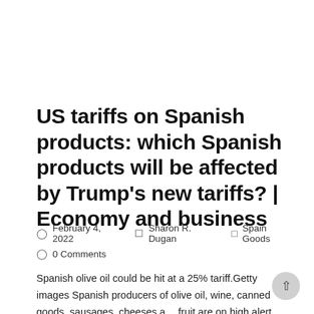US tariffs on Spanish products: which Spanish products will be affected by Trump's new tariffs? | Economy and business
February 4, 2022   Sharon R. Dugan   Spain Goods   0 Comments
Spanish olive oil could be hit at a 25% tariff.Getty images Spanish producers of olive oil, wine, canned goods, sausages, cheeses and fruit are on high alert after the US government of President Donald Trump announced its decision to impose...